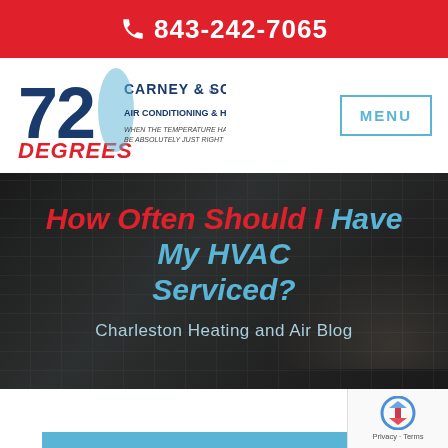843-242-7065
[Figure (logo): Carney & Son 72 Degrees Air Conditioning & Heating logo with tagline: WHEN THE TEMPERATURE HAS TO BE ABSOLUTELY JUST RIGHT]
MENU
How Often Should I Have My HVAC Serviced?
Charleston Heating and Air Blog
[Figure (illustration): reCAPTCHA privacy badge with Google reCAPTCHA icon, Privacy and Terms text]